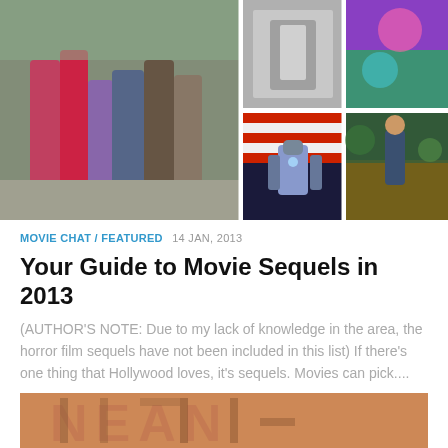[Figure (photo): Collage of movie stills: left large image shows group of teenagers/young people walking outdoors; top-right shows a stone statue or figure; middle-right shows Iron Man armor character with American flag; bottom-far-right shows a person in a fantasy/adventure scene (The Hobbit); and another small colorful image.]
MOVIE CHAT / FEATURED  14 JAN, 2013
Your Guide to Movie Sequels in 2013
(AUTHOR'S NOTE: Due to my lack of knowledge in the area, the horror film sequels have not been included in this list) If there's one thing that Hollywood loves, it's sequels. Movies can pick....
[Figure (photo): Bottom portion of a movie poster showing a muscular male torso/neck with large stylized text overlay that appears to spell out letters, in warm orange/skin tones.]